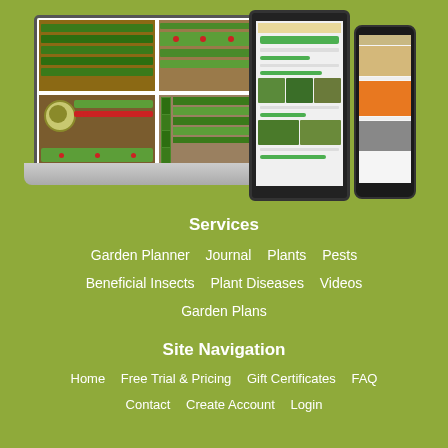[Figure (screenshot): Multiple device mockups (laptop, tablet, smartphone) showing a garden planner application with colorful garden bed layouts and plant images on a green background]
Services
Garden Planner   Journal   Plants   Pests
Beneficial Insects   Plant Diseases   Videos
Garden Plans
Site Navigation
Home   Free Trial & Pricing   Gift Certificates   FAQ
Contact   Create Account   Login